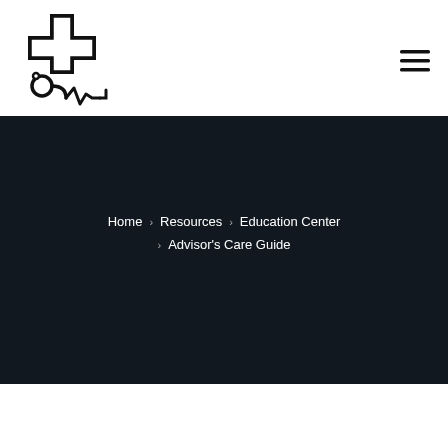[Figure (logo): Medical logo: stethoscope with heartbeat line and a cross/plus symbol, black line art on white background]
[Figure (other): Hamburger menu icon: three horizontal lines stacked vertically, top right corner]
Home › Resources › Education Center › Advisor's Care Guide